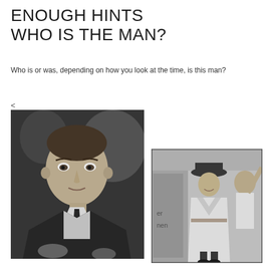ENOUGH HINTS
WHO IS THE MAN?
Who is or was, depending on how you look at the time, is this man?
<
[Figure (photo): Black and white close-up photograph of a young man in a suit and tie, surrounded by people, looking at the camera]
[Figure (photo): Black and white photograph of a man in a light-colored long coat and hat walking on a street, with another man visible in the background raising his arm]